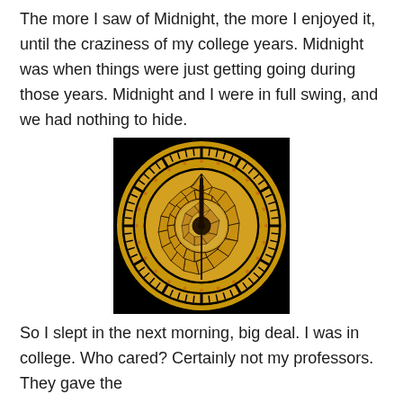The more I saw of Midnight, the more I enjoyed it, until the craziness of my college years. Midnight was when things were just getting going during those years. Midnight and I were in full swing, and we had nothing to hide.
[Figure (photo): A close-up photograph of an ornate illuminated clock face at midnight, showing both hands pointing straight up to 12. The clock face is golden/amber colored with intricate decorative patterns, set against a black background. The face features multiple concentric rings with detailed metalwork and a central stained-glass-like pattern.]
So I slept in the next morning, big deal. I was in college. Who cared? Certainly not my professors. They gave the